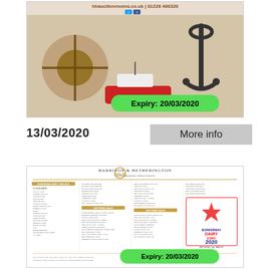[Figure (photo): HH Auction Rooms advertisement banner showing nautical antiques and auction items with website hhauctionrooms.co.uk and phone 01228 406320, with social media icons and Expiry: 20/03/2020 badge]
13/03/2020
More info
[Figure (photo): Harrison & Hetherington livestock auctioneers advertisement showing a multi-column sale catalogue page with details of livestock sales, and a British Dairy Expo 2020 logo, with Expiry: 20/03/2020 badge]